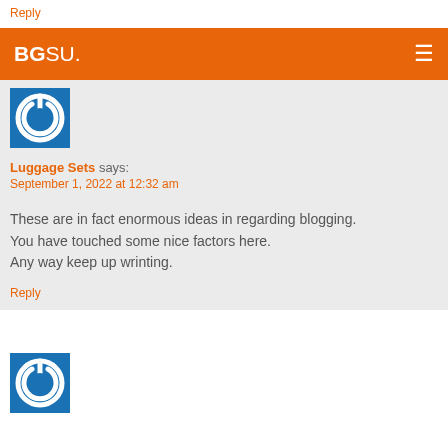Reply
BGSU.
[Figure (logo): Blue square with white power/on button icon - user avatar for Luggage Sets commenter]
Luggage Sets says:
September 1, 2022 at 12:32 am
These are in fact enormous ideas in regarding blogging. You have touched some nice factors here. Any way keep up wrinting.
Reply
[Figure (logo): Blue square with white power/on button icon - user avatar for second commenter]